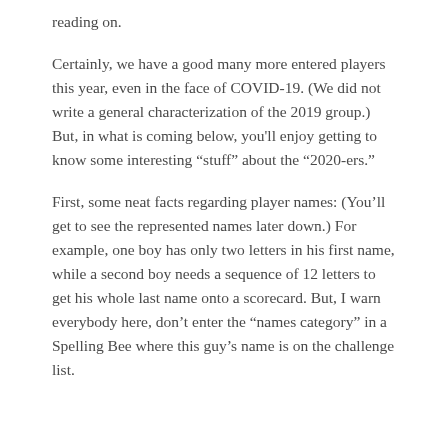reading on.
Certainly, we have a good many more entered players this year, even in the face of COVID-19. (We did not write a general characterization of the 2019 group.) But, in what is coming below, you'll enjoy getting to know some interesting “stuff” about the “2020-ers.”
First, some neat facts regarding player names: (You’ll get to see the represented names later down.) For example, one boy has only two letters in his first name, while a second boy needs a sequence of 12 letters to get his whole last name onto a scorecard. But, I warn everybody here, don’t enter the “names category” in a Spelling Bee where this guy’s name is on the challenge list.